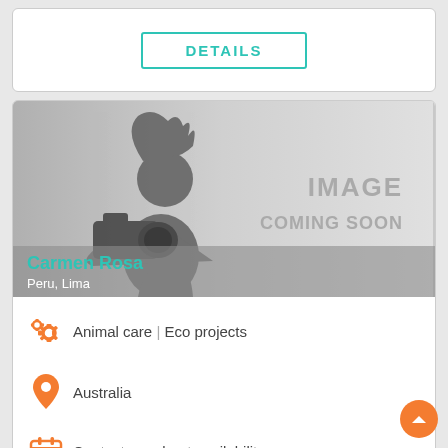DETAILS
[Figure (photo): Profile card with silhouette of a photographer and 'IMAGE COMING SOON' placeholder text, showing Carmen Rosa from Peru, Lima]
Carmen Rosa
Peru, Lima
Animal care | Eco projects
Australia
Contact me about availability